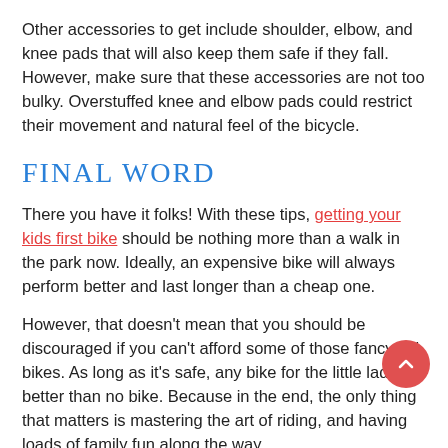Other accessories to get include shoulder, elbow, and knee pads that will also keep them safe if they fall. However, make sure that these accessories are not too bulky. Overstuffed knee and elbow pads could restrict their movement and natural feel of the bicycle.
FINAL WORD
There you have it folks! With these tips, getting your kids first bike should be nothing more than a walk in the park now. Ideally, an expensive bike will always perform better and last longer than a cheap one.
However, that doesn't mean that you should be discouraged if you can't afford some of those fancy kid bikes. As long as it's safe, any bike for the little lads is better than no bike. Because in the end, the only thing that matters is mastering the art of riding, and having loads of family fun along the way.